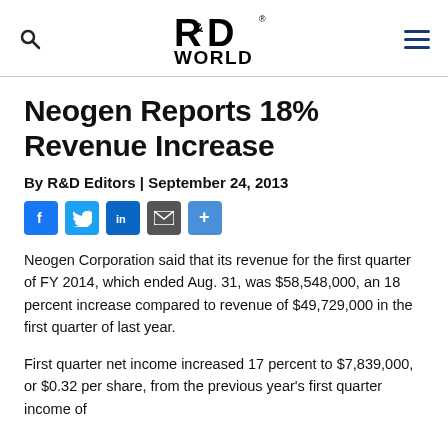R&D World
Neogen Reports 18% Revenue Increase
By R&D Editors | September 24, 2013
[Figure (infographic): Social sharing buttons: Facebook, Twitter, LinkedIn, Email, Share]
Neogen Corporation said that its revenue for the first quarter of FY 2014, which ended Aug. 31, was $58,548,000, an 18 percent increase compared to revenue of $49,729,000 in the first quarter of last year.
First quarter net income increased 17 percent to $7,839,000, or $0.32 per share, from the previous year's first quarter income of